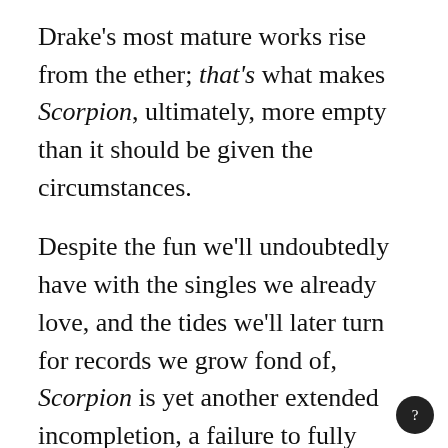Drake's most mature works rise from the ether; that's what makes Scorpion, ultimately, more empty than it should be given the circumstances.
Despite the fun we'll undoubtedly have with the singles we already love, and the tides we'll later turn for records we grow fond of, Scorpion is yet another extended incompletion, a failure to fully seize the opportunity to grow in front of us. Historically, Drake's been the man who can messily lay his soul bare no matter what or...